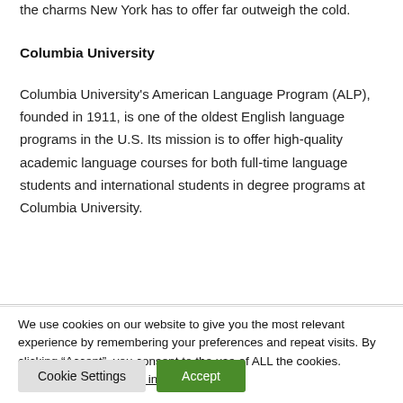the charms New York has to offer far outweigh the cold.
Columbia University
Columbia University's American Language Program (ALP), founded in 1911, is one of the oldest English language programs in the U.S. Its mission is to offer high-quality academic language courses for both full-time language students and international students in degree programs at Columbia University.
We use cookies on our website to give you the most relevant experience by remembering your preferences and repeat visits. By clicking “Accept”, you consent to the use of ALL the cookies.
Do not sell my personal information.